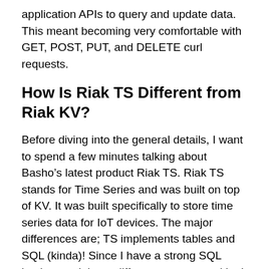application APIs to query and update data. This meant becoming very comfortable with GET, POST, PUT, and DELETE curl requests.
How Is Riak TS Different from Riak KV?
Before diving into the general details, I want to spend a few minutes talking about Basho’s latest product Riak TS. Riak TS stands for Time Series and was built on top of KV. It was built specifically to store time series data for IoT devices. The major differences are; TS implements tables and SQL (kinda)! Since I have a strong SQL background these differences were exciting!
The Details